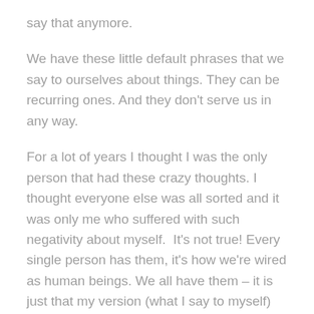say that anymore.
We have these little default phrases that we say to ourselves about things. They can be recurring ones. And they don't serve us in any way.
For a lot of years I thought I was the only person that had these crazy thoughts. I thought everyone else was all sorted and it was only me who suffered with such negativity about myself.  It's not true! Every single person has them, it's how we're wired as human beings. We all have them – it is just that my version (what I say to myself) might be a different to yours.
Here is the original periscope I filmed on the topic: